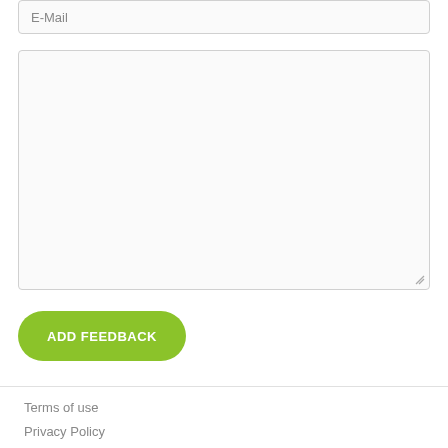E-Mail
[Figure (screenshot): Empty textarea input field with resize handle in bottom-right corner]
ADD FEEDBACK
Terms of use
Privacy Policy